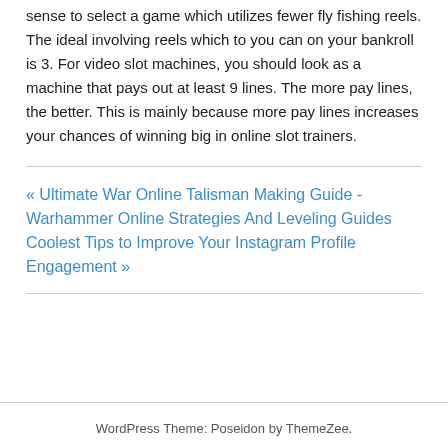sense to select a game which utilizes fewer fly fishing reels. The ideal involving reels which to you can on your bankroll is 3. For video slot machines, you should look as a machine that pays out at least 9 lines. The more pay lines, the better. This is mainly because more pay lines increases your chances of winning big in online slot trainers.
« Ultimate War Online Talisman Making Guide - Warhammer Online Strategies And Leveling Guides
Coolest Tips to Improve Your Instagram Profile Engagement »
WordPress Theme: Poseidon by ThemeZee.